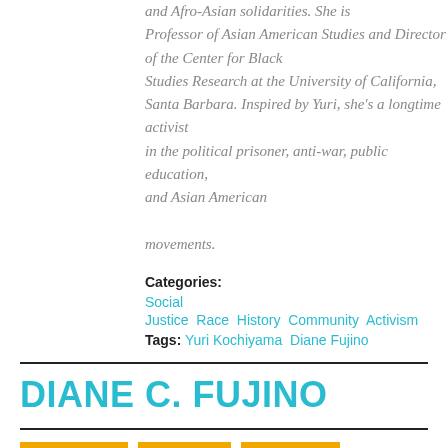and Afro-Asian solidarities. She is Professor of Asian American Studies and Director of the Center for Black Studies Research at the University of California, Santa Barbara. Inspired by Yuri, she's a longtime activist in the political prisoner, anti-war, public education, and Asian American movements.
Categories: Social Justice  Race  History  Community  Activism Tags: Yuri Kochiyama  Diane Fujino
DIANE C. FUJINO
FACEBOOK  TWITTER  GOOGLE+